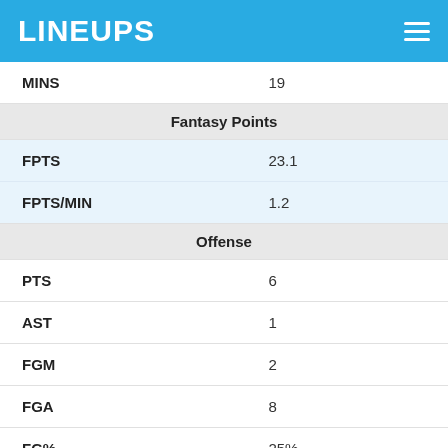LINEUPS
| MINS | 19 |
| Fantasy Points |  |
| FPTS | 23.1 |
| FPTS/MIN | 1.2 |
| Offense |  |
| PTS | 6 |
| AST | 1 |
| FGM | 2 |
| FGA | 8 |
| FG% | 25% |
| 3PM | 1 |
| 3PA | 3 |